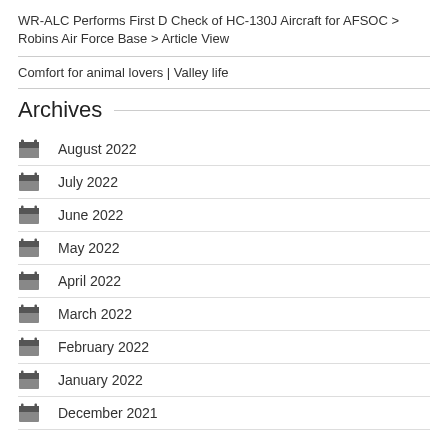WR-ALC Performs First D Check of HC-130J Aircraft for AFSOC > Robins Air Force Base > Article View
Comfort for animal lovers | Valley life
Archives
August 2022
July 2022
June 2022
May 2022
April 2022
March 2022
February 2022
January 2022
December 2021